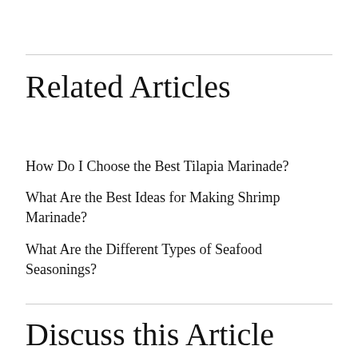Related Articles
How Do I Choose the Best Tilapia Marinade?
What Are the Best Ideas for Making Shrimp Marinade?
What Are the Different Types of Seafood Seasonings?
Discuss this Article